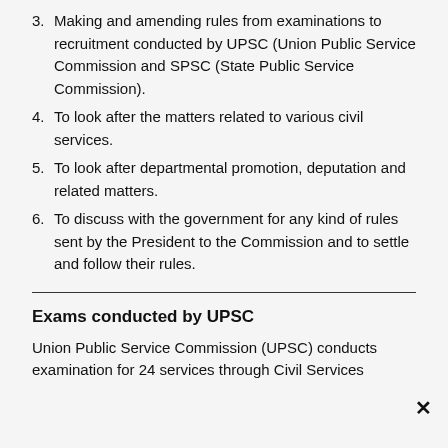3. Making and amending rules from examinations to recruitment conducted by UPSC (Union Public Service Commission and SPSC (State Public Service Commission).
4. To look after the matters related to various civil services.
5. To look after departmental promotion, deputation and related matters.
6. To discuss with the government for any kind of rules sent by the President to the Commission and to settle and follow their rules.
Exams conducted by UPSC
Union Public Service Commission (UPSC) conducts examination for 24 services through Civil Services